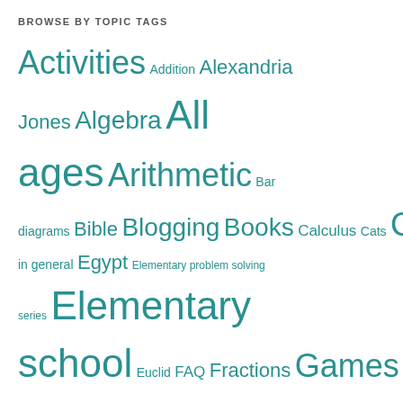BROWSE BY TOPIC TAGS
Activities Addition Alexandria Jones Algebra All ages Arithmetic Bar diagrams Bible Blogging Books Calculus Cats Christmas Combinatorics Division Education in general Egypt Elementary problem solving series Elementary school Euclid FAQ Fractions Games Geometry Handouts High school Holiday math Homeschool co-op Homeschooling Hundred chart Indie publishing Infinity Logic Math club MathCounts Math facts Math Game Monday Math history Math humor Math journals Math monsters Math phobia Memes Mental math Middle school Mistakes Morning coffee MTaP playful math carnival Multiplication My family My math books